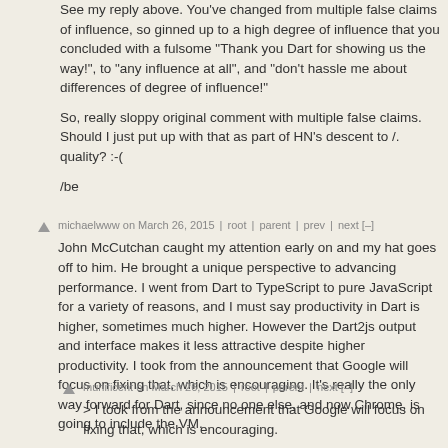See my reply above. You've changed from multiple false claims of influence, so ginned up to a high degree of influence that you concluded with a fulsome "Thank you Dart for showing us the way!", to "any influence at all", and "don't hassle me about differences of degree of influence!"
So, really sloppy original comment with multiple false claims. Should I just put up with that as part of HN's descent to /. quality? :-(
/be
michaelwww on March 26, 2015 | root | parent | prev | next [–]
John McCutchan caught my attention early on and my hat goes off to him. He brought a unique perspective to advancing performance. I went from Dart to TypeScript to pure JavaScript for a variety of reasons, and I must say productivity in Dart is higher, sometimes much higher. However the Dart2js output and interface makes it less attractive despite higher productivity. I took from the announcement that Google will focus on fixing that, which is encouraging. It's really the only way forward for Dart, since no one else, and now Chrome, is going to include the VM.
munificent on March 26, 2015 | root | parent | next [–]
> I took from the announcement that Google will focus on fixing that, which is encouraging.
That's exactly right. We have a lot of focus on dart2js and this...